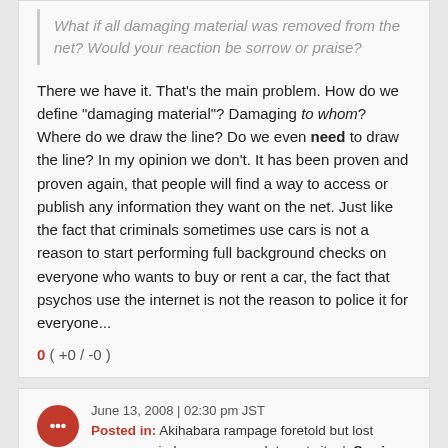What if all damaging material was removed from the net? Would your reaction be sorrow or praise?
There we have it. That's the main problem. How do we define "damaging material"? Damaging to whom? Where do we draw the line? Do we even need to draw the line? In my opinion we don't. It has been proven and proven again, that people will find a way to access or publish any information they want on the net. Just like the fact that criminals sometimes use cars is not a reason to start performing full background checks on everyone who wants to buy or rent a car, the fact that psychos use the internet is not the reason to police it for everyone...
0 ( +0 / -0 )
June 13, 2008 | 02:30 pm JST
Posted in: Akihabara rampage foretold but lost among myriad messages on Internet site | See in context
Zenigata2 - so are you saying that there is such a need